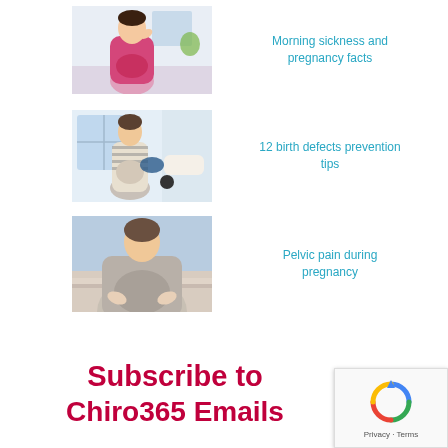[Figure (photo): Pregnant woman holding head/stomach looking nauseous]
Morning sickness and pregnancy facts
[Figure (photo): Pregnant woman having blood pressure taken by healthcare provider]
12 birth defects prevention tips
[Figure (photo): Pregnant woman leaning on railing outdoors, close-up of belly]
Pelvic pain during pregnancy
Subscribe to Chiro365 Emails